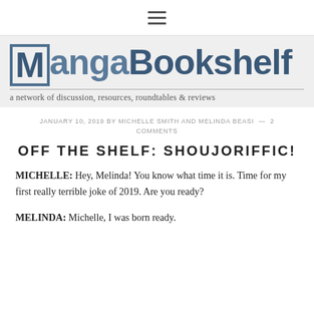≡
[Figure (logo): MangaBookshelf logo — stylized text with M in a box border, followed by 'angaBookshelf' in blue/grey bold font. Tagline: 'a network of discussion, resources, roundtables & reviews']
JANUARY 10, 2019 BY MICHELLE SMITH AND MELINDA BEASI — 2 COMMENTS
OFF THE SHELF: SHOUJORIFFIC!
MICHELLE: Hey, Melinda! You know what time it is. Time for my first really terrible joke of 2019. Are you ready?
MELINDA: Michelle, I was born ready.